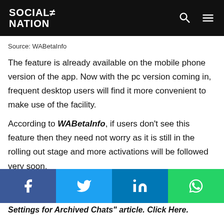Social Nation
Source: WABetaInfo
The feature is already available on the mobile phone version of the app. Now with the pc version coming in, frequent desktop users will find it more convenient to make use of the facility.
According to WABetaInfo, if users don't see this feature then they need not worry as it is still in the rolling out stage and more activations will be followed very soon.
WhatsApp previously released new settings for archived
[Figure (infographic): Social share bar with Facebook, Twitter, LinkedIn, and WhatsApp buttons]
Settings for Archived Chats" article. Click Here.